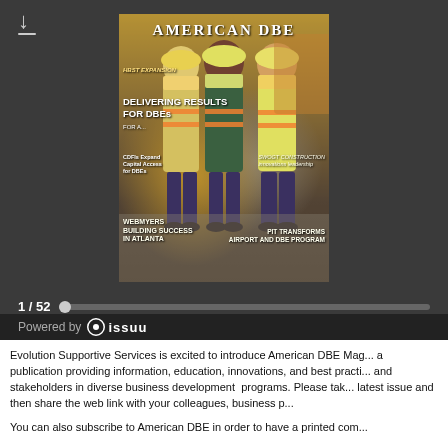[Figure (screenshot): Issuu magazine viewer showing American DBE magazine cover with three construction workers in safety vests and hard hats, page counter 1/52 and progress bar, Powered by issuu branding at bottom]
Evolution Supportive Services is excited to introduce American DBE Magazine, a publication providing information, education, innovations, and best practices to DBEs and stakeholders in diverse business development programs. Please take a look at the latest issue and then share the web link with your colleagues, business partners...
You can also subscribe to American DBE in order to have a printed copy...